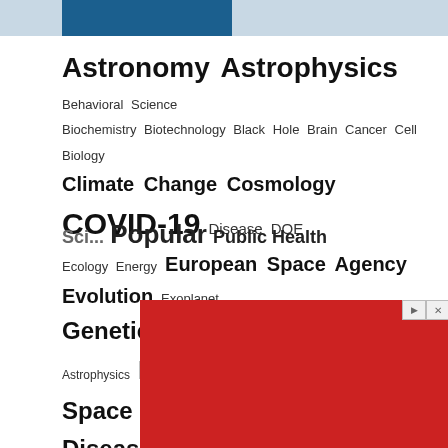[Figure (screenshot): Tag cloud of science topics. Header bar with blue and grey. Tags of varying sizes including: Astronomy, Astrophysics, Behavioral Science, Biochemistry, Biotechnology, Black Hole, Brain, Cancer, Cell Biology, Climate Change, Cosmology, COVID-19, Disease, DOE, Ecology, Energy, European Space Agency, Evolution, Exoplanet, Genetics, Geology, Harvard-Smithsonian Center for Astrophysics, Hubble Space Telescope, Infectious Diseases, JPL, Mars, Materials Science, Max Planck Institute, Medicine, MIT, Nanotechnology, NASA, NASA Goddard Space Flight Center, Neuroscience, Nutrition, Paleontology, Particle Physics, Planetary, Science (partial), Popular (partial), Public Health (partial). Red advertisement banner at bottom.]